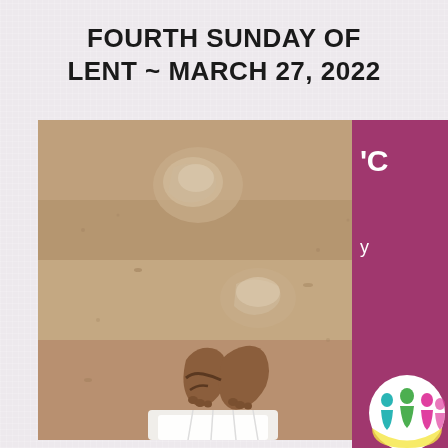FOURTH SUNDAY OF LENT ~ MARCH 27, 2022
[Figure (photo): Aerial view of bare feet standing in sand with footprints visible, person wearing white robe or garment]
[Figure (logo): Circular logo with colorful figures of people in teal, green, and pink colors on white/yellow background]